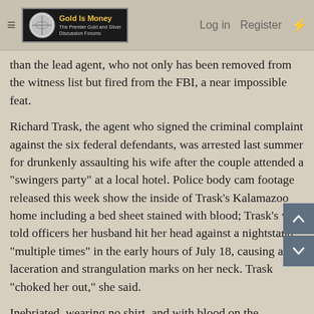Gold Is Money — The Premier Gold and Silver Discussion Forums | Log in | Register
than the lead agent, who not only has been removed from the witness list but fired from the FBI, a near impossible feat.
Richard Trask, the agent who signed the criminal complaint against the six federal defendants, was arrested last summer for drunkenly assaulting his wife after the couple attended a "swingers party" at a local hotel. Police body cam footage released this week show the inside of Trask's Kalamazoo home including a bed sheet stained with blood; Trask's wife told officers her husband hit her head against a nightstand “multiple times” in the early hours of July 18, causing a laceration and strangulation marks on her neck. Trask “choked her out,” she said.
Inebriated, wearing no shirt, and with blood on the side of his face, Trask was arrested around 4:15 a.m. on one count of assault. (He was not asked to take a breathalyzer test or charged with driving under the influence, despite clear indication.) On Monday, Trask pleaded no contest; a Kalamazoo Court judge sentenced Trask to time served — he spent two